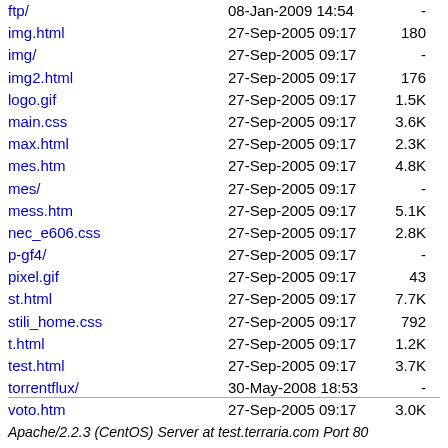| Name | Date | Size |
| --- | --- | --- |
| ftp/ | 08-Jan-2009 14:54 | - |
| img.html | 27-Sep-2005 09:17 | 180 |
| img/ | 27-Sep-2005 09:17 | - |
| img2.html | 27-Sep-2005 09:17 | 176 |
| logo.gif | 27-Sep-2005 09:17 | 1.5K |
| main.css | 27-Sep-2005 09:17 | 3.6K |
| max.html | 27-Sep-2005 09:17 | 2.3K |
| mes.htm | 27-Sep-2005 09:17 | 4.8K |
| mes/ | 27-Sep-2005 09:17 | - |
| mess.htm | 27-Sep-2005 09:17 | 5.1K |
| nec_e606.css | 27-Sep-2005 09:17 | 2.8K |
| p-gf4/ | 27-Sep-2005 09:17 | - |
| pixel.gif | 27-Sep-2005 09:17 | 43 |
| st.html | 27-Sep-2005 09:17 | 7.7K |
| stili_home.css | 27-Sep-2005 09:17 | 792 |
| t.html | 27-Sep-2005 09:17 | 1.2K |
| test.html | 27-Sep-2005 09:17 | 3.7K |
| torrentflux/ | 30-May-2008 18:53 | - |
| voto.htm | 27-Sep-2005 09:17 | 3.0K |
Apache/2.2.3 (CentOS) Server at test.terraria.com Port 80